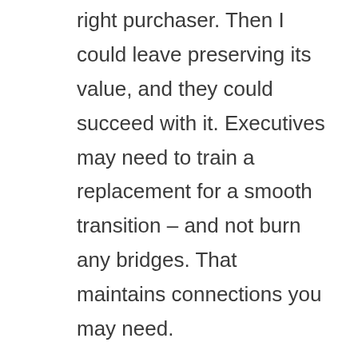right purchaser. Then I could leave preserving its value, and they could succeed with it. Executives may need to train a replacement for a smooth transition – and not burn any bridges. That maintains connections you may need.

Finding a true sense of purpose, based on what you most value guides the journey. You're heading into an unknown, fear of which can stop people. Your true values are a compass to the north star of your